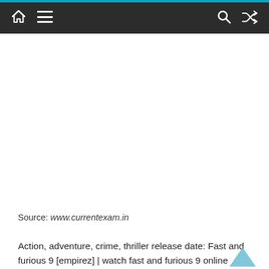Navigation bar with home, menu, search, and shuffle icons
Source: www.currentexam.in
Action, adventure, crime, thriller release date: Fast and furious 9 [empirez] | watch fast and furious 9 online (2021) full movie free hd.720px|watch fast and furious 9 online (2021) full movies free hd !!